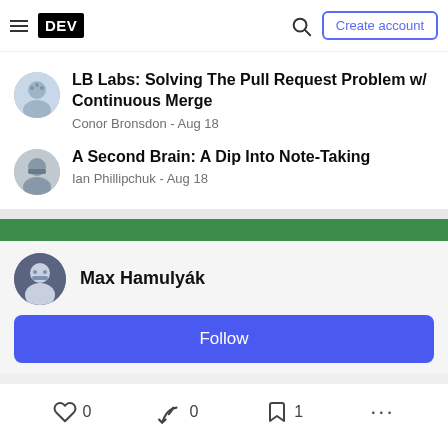DEV — Create account
LB Labs: Solving The Pull Request Problem w/ Continuous Merge
Conor Bronsdon - Aug 18
A Second Brain: A Dip Into Note-Taking
Ian Phillipchuk - Aug 18
Max Hamulyák
Follow
0  0  1  ...